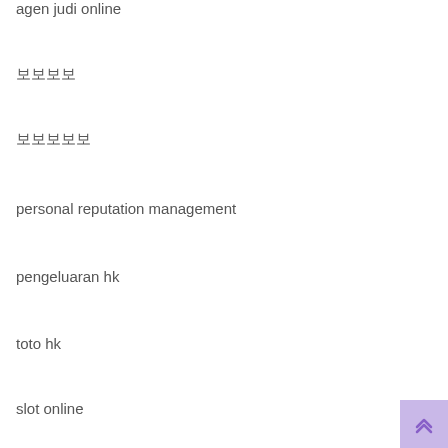agen judi online
보보보보
보보보보보
personal reputation management
pengeluaran hk
toto hk
slot online